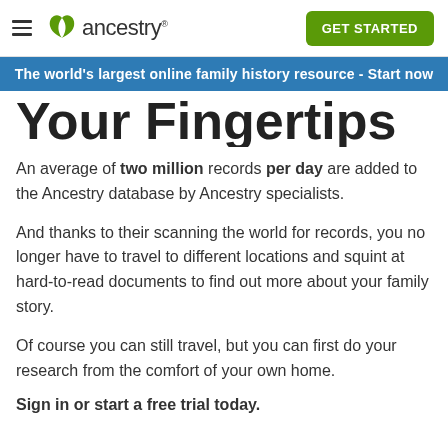ancestry GET STARTED
The world's largest online family history resource - Start now
Your Fingertips
An average of two million records per day are added to the Ancestry database by Ancestry specialists.
And thanks to their scanning the world for records, you no longer have to travel to different locations and squint at hard-to-read documents to find out more about your family story.
Of course you can still travel, but you can first do your research from the comfort of your own home.
Sign in or start a free trial today.